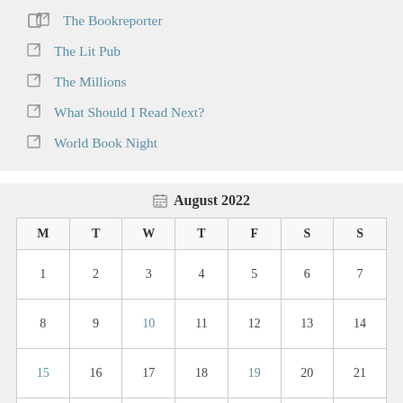The Bookreporter
The Lit Pub
The Millions
What Should I Read Next?
World Book Night
| M | T | W | T | F | S | S |
| --- | --- | --- | --- | --- | --- | --- |
| 1 | 2 | 3 | 4 | 5 | 6 | 7 |
| 8 | 9 | 10 | 11 | 12 | 13 | 14 |
| 15 | 16 | 17 | 18 | 19 | 20 | 21 |
| 22 | 23 | 24 | 25 | 26 | 27 | 28 |
| 29 | 30 | 31 |  |  |  |  |